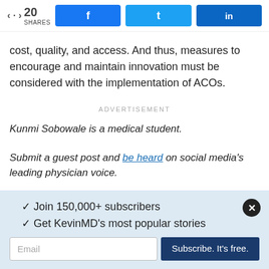[Figure (infographic): Social share bar with share count (20 SHARES) and buttons for Facebook, Twitter, and LinkedIn]
cost, quality, and access. And thus, measures to encourage and maintain innovation must be considered with the implementation of ACOs.
ADVERTISEMENT
Kunmi Sobowale is a medical student.
Submit a guest post and be heard on social media's leading physician voice.
TAGGED AS: PRIMARY CARE, PUBLIC HEALTH & POLICY
✓ Join 150,000+ subscribers
✓ Get KevinMD's most popular stories